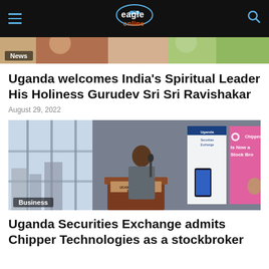Eagle Online
[Figure (photo): Top partial image strip of colorful scene, with News tag overlay]
Uganda welcomes India’s Spiritual Leader His Holiness Gurudev Sri Sri Ravishakar
August 29, 2022
[Figure (photo): Man in grey suit speaking at podium labeled Uganda Securities Exchange, with Uganda Securities Exchange and Chipper Is Now a Stock Bro[ker] banners in background, Business tag overlay]
Uganda Securities Exchange admits Chipper Technologies as a stockbroker